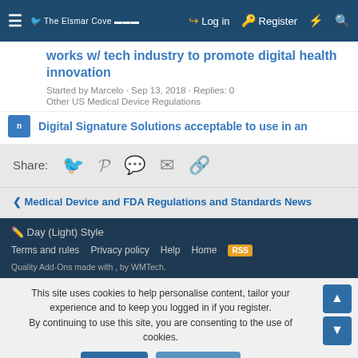The Elsmar Cove | Log in | Register
works w/ tech industry to promote digital health innovation
Started by Marcelo · Sep 13, 2018 · Replies: 0
Other US Medical Device Regulations
Digital Signature Solutions acceptable to use in an
Share:
Medical Device and FDA Regulations and Standards News
Day (Light) Style
Terms and rules | Privacy policy | Help | Home | RSS
Quality Add-Ons made with , by WMTech.
This site uses cookies to help personalise content, tailor your experience and to keep you logged in if you register.
By continuing to use this site, you are consenting to the use of cookies.
Accept | Learn more...